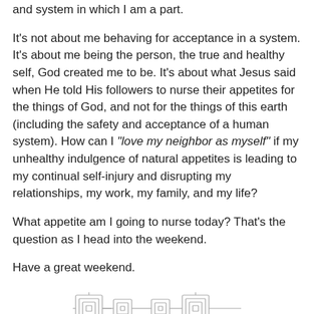and system in which I am a part.
It’s not about me behaving for acceptance in a system. It’s about me being the person, the true and healthy self, God created me to be. It’s about what Jesus said when He told His followers to nurse their appetites for the things of God, and not for the things of this earth (including the safety and acceptance of a human system). How can I “love my neighbor as myself” if my unhealthy indulgence of natural appetites is leading to my continual self-injury and disrupting my relationships, my work, my family, and my life?
What appetite am I going to nurse today? That’s the question as I head into the weekend.
Have a great weekend.
[Figure (illustration): Decorative ornamental divider consisting of two symmetric interlocking square geometric knot designs connected by a horizontal bar, rendered in a light grey outline style.]